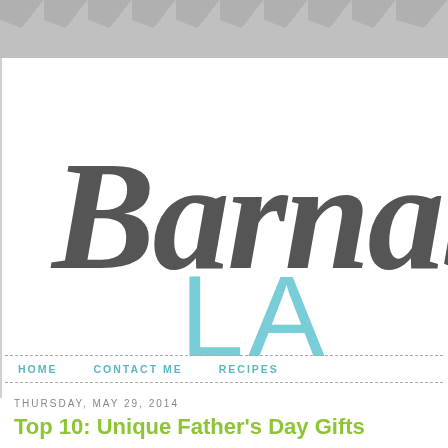[Figure (illustration): Gray chevron/zigzag pattern banner at top of page]
[Figure (logo): Barnabe Lane blog logo — cursive script 'Barnabe' in dark gray with 'LA' in large light teal sans-serif letters below]
HOME   CONTACT ME   RECIPES
THURSDAY, MAY 29, 2014
Top 10: Unique Father's Day Gifts